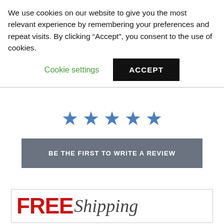We use cookies on our website to give you the most relevant experience by remembering your preferences and repeat visits. By clicking “Accept”, you consent to the use of cookies.
Cookie settings
ACCEPT
[Figure (other): Five blue star rating icons displayed in a row]
BE THE FIRST TO WRITE A REVIEW
[Figure (other): FREE Shipping promotional banner with FREE in bold red and Shipping in dark italic script]